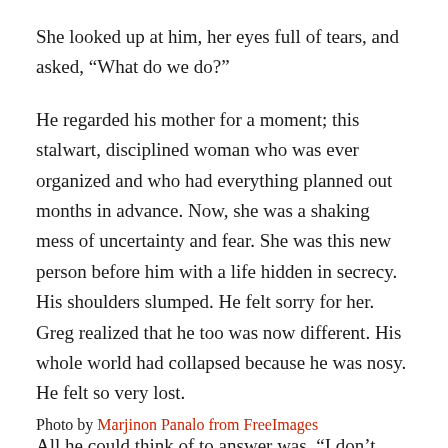She looked up at him, her eyes full of tears, and asked, “What do we do?”
He regarded his mother for a moment; this stalwart, disciplined woman who was ever organized and who had everything planned out months in advance. Now, she was a shaking mess of uncertainty and fear. She was this new person before him with a life hidden in secrecy. His shoulders slumped. He felt sorry for her. Greg realized that he too was now different. His whole world had collapsed because he was nosy. He felt so very lost.
All he could think of to answer was, “I don’t know.”
Photo by Marjinon Panalo from FreeImages